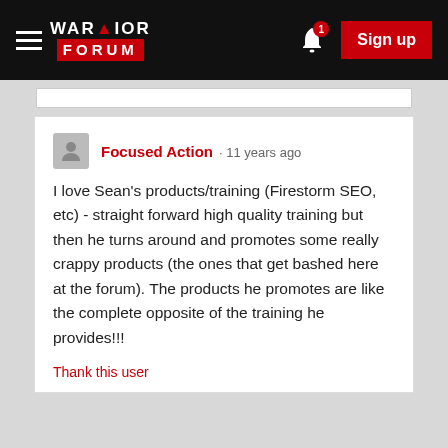[Figure (screenshot): Warrior Forum navigation bar with hamburger menu, Warrior Forum logo, notification bell with badge '1', and red Sign up button]
Focused Action · 11 years ago

I love Sean's products/training (Firestorm SEO, etc) - straight forward high quality training but then he turns around and promotes some really crappy products (the ones that get bashed here at the forum). The products he promotes are like the complete opposite of the training he provides!!!

Thank this user